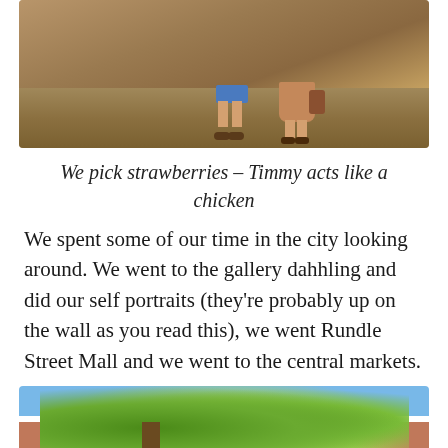[Figure (photo): Photo of two people standing on dry dirt ground, one in blue shorts and sandals, the other in a brown/tan dress with sandals and a bag. View is from waist down.]
We pick strawberries – Timmy acts like a chicken
We spent some of our time in the city looking around. We went to the gallery dahhling and did our self portraits (they're probably up on the wall as you read this), we went Rundle Street Mall and we went to the central markets.
[Figure (photo): Photo looking up through green leafy tree branches against a blue sky, with a red brick building visible in the background.]